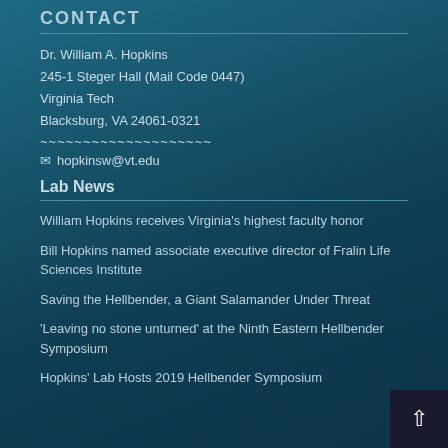CONTACT
Dr. William A. Hopkins
245-1 Steger Hall (Mail Code 0447)
Virginia Tech
Blacksburg, VA 24061-0321
~~~~~~~~~~~~~~~~~~~~
hopkinsw@vt.edu
Lab News
William Hopkins receives Virginia’s highest faculty honor
Bill Hopkins named associate executive director of Fralin Life Sciences Institute
Saving the Hellbender, a Giant Salamander Under Threat
‘Leaving no stone unturned’ at the Ninth Eastern Hellbender Symposium
Hopkins’ Lab Hosts 2019 Hellbender Symposium